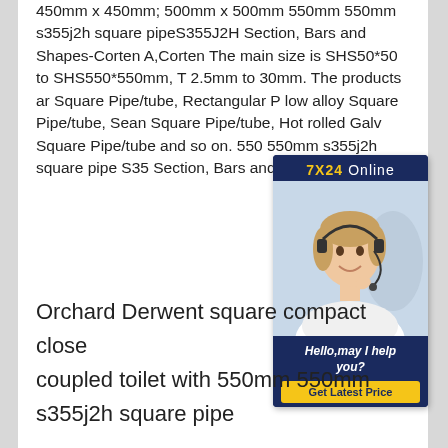450mm x 450mm; 500mm x 500mm 550mm 550mm s355j2h square pipeS355J2H Section, Bars and Shapes-Corten A,Corten The main size is SHS50*50 to SHS550*550mm, T 2.5mm to 30mm. The products ar Square Pipe/tube, Rectangular P low alloy Square Pipe/tube, Sean Square Pipe/tube, Hot rolled Galv Square Pipe/tube and so on. 550 550mm s355j2h square pipe S35 Section, Bars and Shapes .
[Figure (other): Live chat widget with 7X24 Online label, photo of a woman with a headset, and 'Hello, may I help you?' text with a 'Get Latest Price' yellow button]
Orchard Derwent square compact close coupled toilet with 550mm 550mm s355j2h square pipe
Orchard Derwent square compact